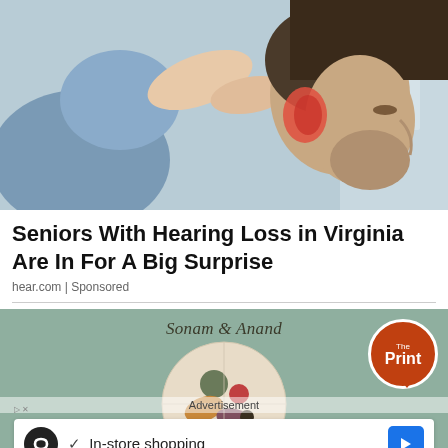[Figure (photo): A healthcare professional placing a hearing device on a man's ear. The man is shown in profile with a reddened ear area highlighted. The professional's hands are visible, wearing a blue sweater with a ring on one finger.]
Seniors With Hearing Loss in Virginia Are In For A Big Surprise
hear.com | Sponsored
[Figure (infographic): Advertisement block with light teal/sage green background. Text 'Sonam & Anand' in italic script at top. A circular plate graphic with colorful food items in the center. The Print logo badge (orange circle with white border) in the top right corner. An inline ad banner at the bottom showing an infinity symbol icon, a checkmark with 'In-store shopping' text, and a blue arrow button.]